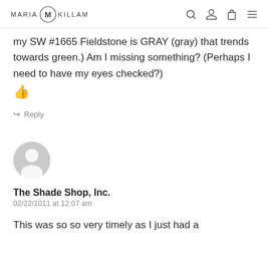MARIA KILLAM
my SW #1665 Fieldstone is GRAY (gray) that trends towards green.) Am I missing something? (Perhaps I need to have my eyes checked?)
👍
↪ Reply
[Figure (illustration): Default user avatar - grey circle with white person silhouette]
The Shade Shop, Inc.
02/22/2011 at 12:07 am
This was so so very timely as I just had a